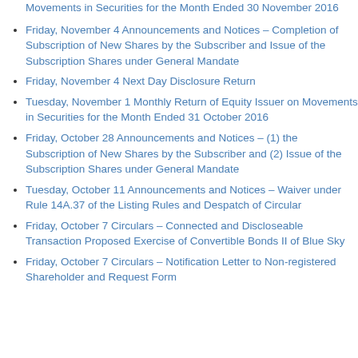Movements in Securities for the Month Ended 30 November 2016
Friday, November 4 Announcements and Notices – Completion of Subscription of New Shares by the Subscriber and Issue of the Subscription Shares under General Mandate
Friday, November 4 Next Day Disclosure Return
Tuesday, November 1 Monthly Return of Equity Issuer on Movements in Securities for the Month Ended 31 October 2016
Friday, October 28 Announcements and Notices – (1) the Subscription of New Shares by the Subscriber and (2) Issue of the Subscription Shares under General Mandate
Tuesday, October 11 Announcements and Notices – Waiver under Rule 14A.37 of the Listing Rules and Despatch of Circular
Friday, October 7 Circulars – Connected and Discloseable Transaction Proposed Exercise of Convertible Bonds II of Blue Sky
Friday, October 7 Circulars – Notification Letter to Non-registered Shareholder and Request Form